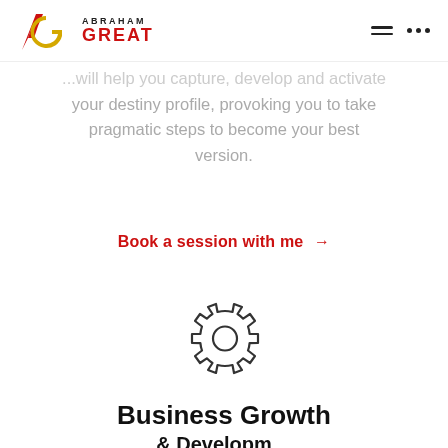Abraham Great — navigation header with logo and hamburger/dots menu
...will help you capture, develop and activate your destiny profile, provoking you to take pragmatic steps to become your best version.
Book a session with me →
[Figure (illustration): Gear / cog wheel icon outline, dark gray stroke on white background]
Business Growth
& Development (partial, cut off)